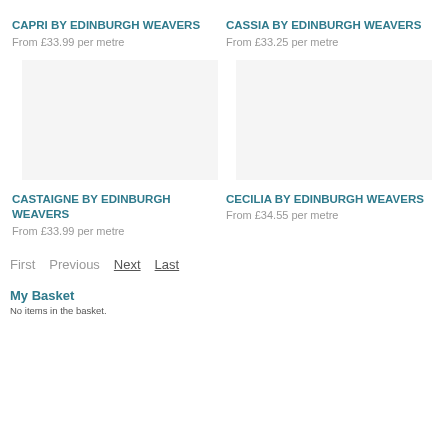CAPRI by EDINBURGH WEAVERS
From £33.99 per metre
CASSIA by EDINBURGH WEAVERS
From £33.25 per metre
[Figure (photo): Product image placeholder for CASTAIGNE fabric]
[Figure (photo): Product image placeholder for CECILIA fabric]
CASTAIGNE by EDINBURGH WEAVERS
From £33.99 per metre
CECILIA by EDINBURGH WEAVERS
From £34.55 per metre
First  Previous  Next  Last
My Basket
No items in the basket.